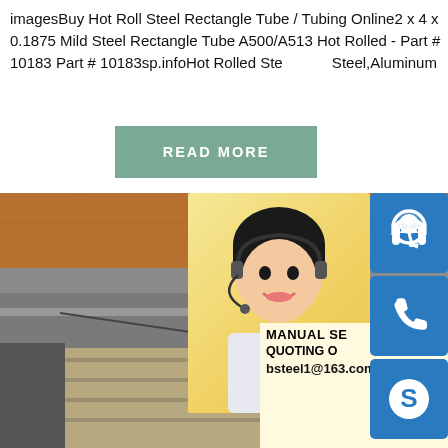imagesBuy Hot Roll Steel Rectangle Tube / Tubing Online2 x 4 x 0.1875 Mild Steel Rectangle Tube A500/A513 Hot Rolled - Part # 10183 Part # 10183sp.infoHot Rolled Ste Steel,Aluminum
[Figure (other): READ MORE button in muted green/sage color]
[Figure (photo): Photo of stacked hot rolled steel plates/sheets with a woman customer service representative overlay showing contact icons (headset icon, phone icon, Skype icon) and text: MANUAL SE... QUOTING O... bsteel1@163.com]